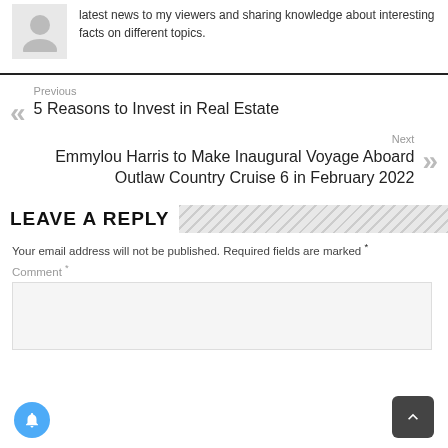latest news to my viewers and sharing knowledge about interesting facts on different topics.
Previous
5 Reasons to Invest in Real Estate
Next
Emmylou Harris to Make Inaugural Voyage Aboard Outlaw Country Cruise 6 in February 2022
LEAVE A REPLY
Your email address will not be published. Required fields are marked *
Comment *